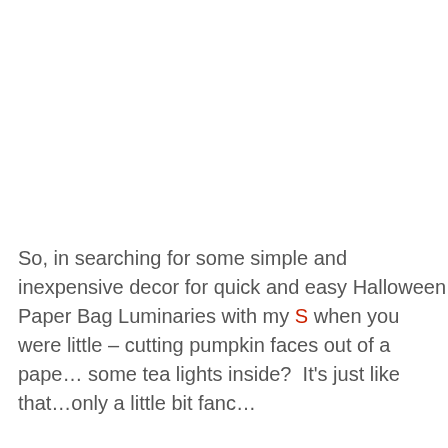So, in searching for some simple and inexpensive decor for quick and easy Halloween Paper Bag Luminaries with my S… when you were little – cutting pumpkin faces out of a pape… some tea lights inside?  It's just like that…only a little bit fanc…